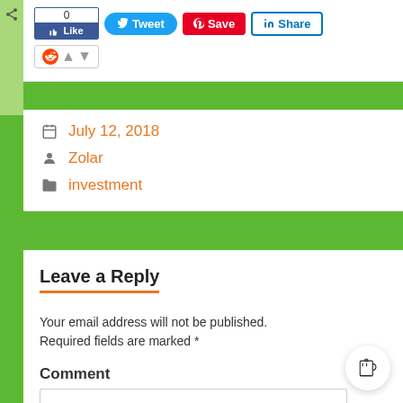[Figure (screenshot): Social sharing buttons row: Facebook Like (0), Tweet, Pinterest Save, LinkedIn Share, Reddit upvote widget]
July 12, 2018
Zolar
investment
Leave a Reply
Your email address will not be published. Required fields are marked *
Comment